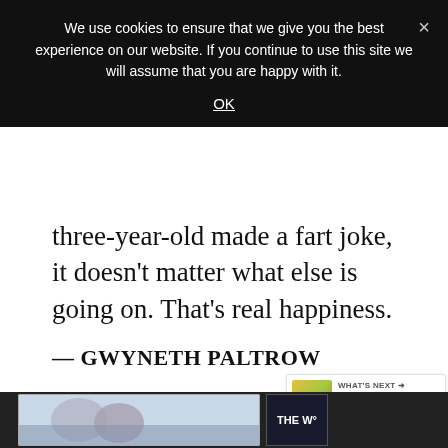We use cookies to ensure that we give you the best experience on our website. If you continue to use this site we will assume that you are happy with it.
OK
three-year-old made a fart joke, it doesn't matter what else is going on. That's real happiness.
— GWYNETH PALTROW
It has been a terrible, horrible, no good, very bad day. My mom says some days ar
[Figure (other): What's Next widget showing thumbnail and title '15 Working Mom Funny...']
[Figure (other): Bottom advertisement banner with partial image visible]